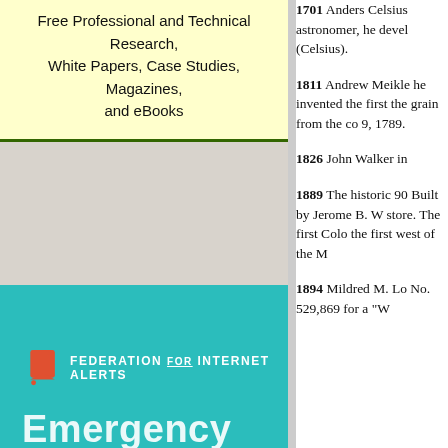Free Professional and Technical Research, White Papers, Case Studies, Magazines, and eBooks
[Figure (logo): Federation for Internet Alerts logo with orange flag icon on teal background, and 'Emergency' text partially visible]
1701 Anders Celsius astronomer, he developed (Celsius).
1811 Andrew Meikle he invented the first the grain from the co 9, 1789.
1826 John Walker in
1889 The historic 90 Built by Jerome B. W store. The first Colo the first west of the M
1894 Mildred M. Lo No. 529,869 for a "W